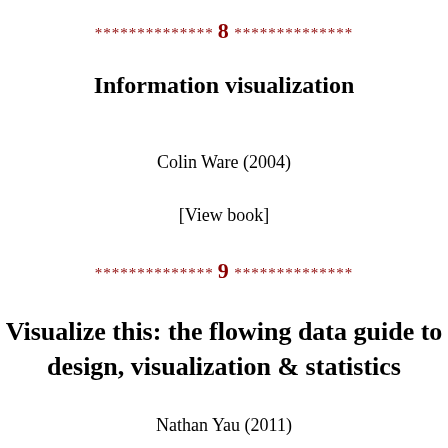************** 8 **************
Information visualization
Colin Ware (2004)
[View book]
************** 9 **************
Visualize this: the flowing data guide to design, visualization & statistics
Nathan Yau (2011)